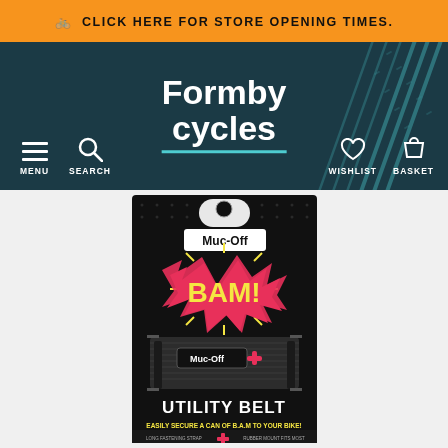🚲 CLICK HERE FOR STORE OPENING TIMES.
[Figure (screenshot): Formby Cycles website navigation header with dark teal background, logo reading 'Formby Cycles', menu/search icons on left, wishlist/basket icons on right, decorative tyre track pattern on right side]
[Figure (photo): Muc-Off BAM! Utility Belt product in black packaging. Package shows Muc-Off logo, BAM! branding in yellow/pink comic style, a black velcro utility belt strap with Muc-Off logo and pink cross symbol. Bottom text reads 'UTILITY BELT' and 'EASILY SECURE A CAN OF B.A.M TO YOUR BIKE!']